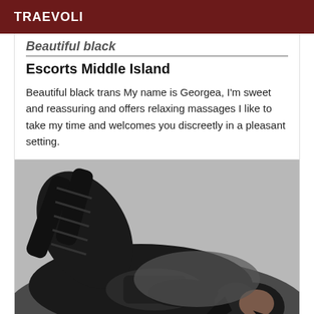TRAEVOLI
Beautiful black
Escorts Middle Island
Beautiful black trans My name is Georgea, I'm sweet and reassuring and offers relaxing massages I like to take my time and welcomes you discreetly in a pleasant setting.
[Figure (photo): A person in black lingerie reclining on a dark sofa]